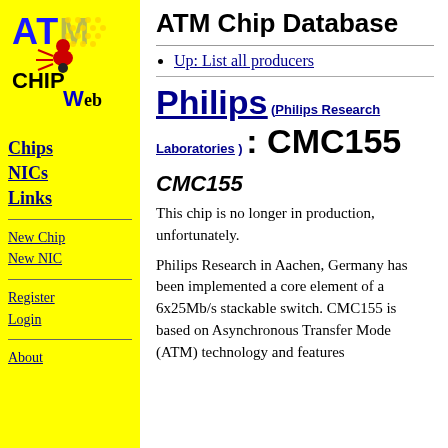[Figure (logo): ATM CHIPWeb logo with ant and yellow background]
Chips
NICs
Links
New Chip
New NIC
Register
Login
About
ATM Chip Database
Up: List all producers
Philips (Philips Research Laboratories) : CMC155
CMC155
This chip is no longer in production, unfortunately.
Philips Research in Aachen, Germany has been implemented a core element of a 6x25Mb/s stackable switch. CMC155 is based on Asynchronous Transfer Mode (ATM) technology and features